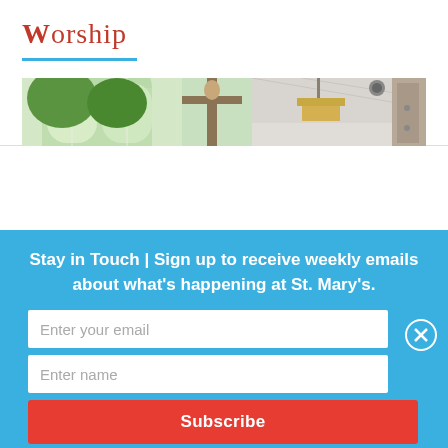Worship
[Figure (photo): Interior of a church showing a crucifix/cross, arched windows with greenery visible outside, and a hanging light fixture with a white ceiling.]
Stay in Touch | Sign up to receive weekly emails about what's happening at St. Mary's.
Enter your email
Enter name
Subscribe